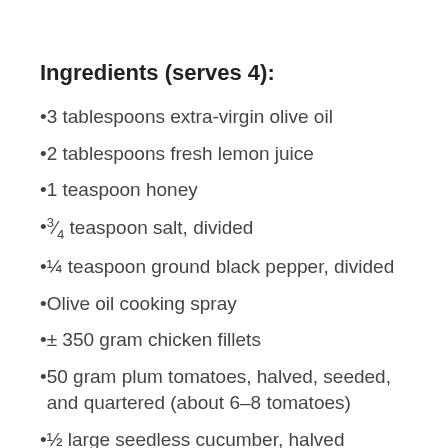Ingredients (serves 4):
3 tablespoons extra-virgin olive oil
2 tablespoons fresh lemon juice
1 teaspoon honey
¾ teaspoon salt, divided
¼ teaspoon ground black pepper, divided
Olive oil cooking spray
± 350 gram chicken fillets
50 gram plum tomatoes, halved, seeded, and quartered (about 6–8 tomatoes)
½ large seedless cucumber, halved